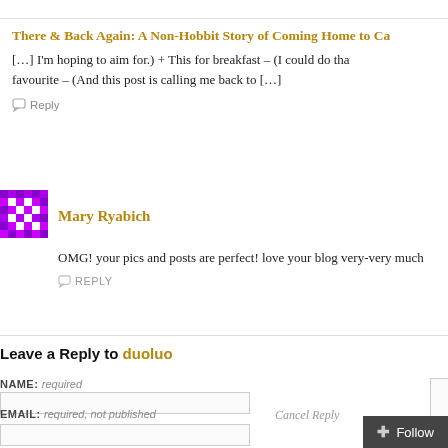There & Back Again: A Non-Hobbit Story of Coming Home to Ca
[…] I'm hoping to aim for.) + This for breakfast – (I could do tha favourite – (And this post is calling me back to […]
Reply
Mary Ryabich
OMG! your pics and posts are perfect! love your blog very-very much
REPLY
Leave a Reply to duoluo
NAME: required
Cancel Reply
EMAIL: required, not published